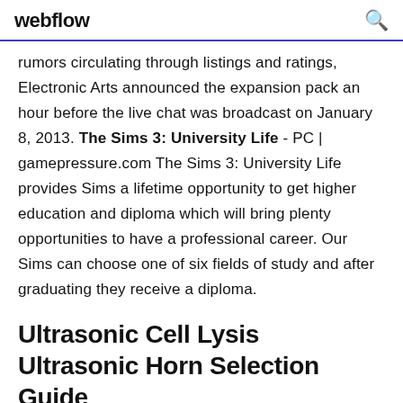webflow
rumors circulating through listings and ratings, Electronic Arts announced the expansion pack an hour before the live chat was broadcast on January 8, 2013. The Sims 3: University Life - PC | gamepressure.com The Sims 3: University Life provides Sims a lifetime opportunity to get higher education and diploma which will bring plenty opportunities to have a professional career. Our Sims can choose one of six fields of study and after graduating they receive a diploma.
Ultrasonic Cell Lysis Ultrasonic Horn Selection Guide